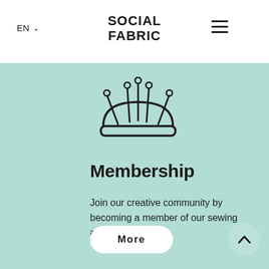EN  SOCIAL FABRIC  [hamburger menu]
[Figure (illustration): Pin cushion icon — a rounded cushion shape with several pins/needles inserted into it, drawn in a minimal line-art style on a mint/teal background]
Membership
Join our creative community by becoming a member of our sewing atelier.
More